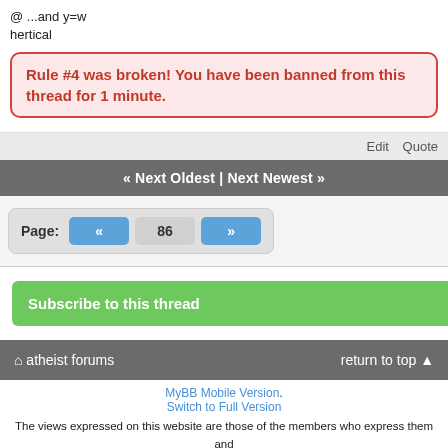@ ...and y=w
hertical
Rule #4 was broken! You have been banned from this thread for 1 minute.
Edit  Quote
« Next Oldest | Next Newest »
Page: « 86 »
Subscribe to this thread
⌂ atheist forums    return to top ▲
MyBB Mobile Version.
Switch to Full Version
The views expressed on this website are those of the members who express them and do not necessarily represent the views of Atheist Forums, its owners, or staff.